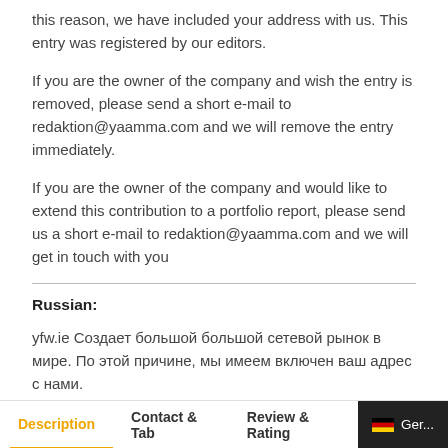this reason, we have included your address with us. This entry was registered by our editors.
If you are the owner of the company and wish the entry is removed, please send a short e-mail to redaktion@yaamma.com and we will remove the entry immediately.
If you are the owner of the company and would like to extend this contribution to a portfolio report, please send us a short e-mail to redaktion@yaamma.com and we will get in touch with you
Russian:
yfw.ie Создает большой большой сетевой рынок в мире. По этой причине, мы имеем включен ваш адрес с нами.
Эта запись была зарегистрирована нашими редакторами. Есливы являетесь владельцем компании и желаете запись
Description   Contact & Tab   Review & Rating   Ger...